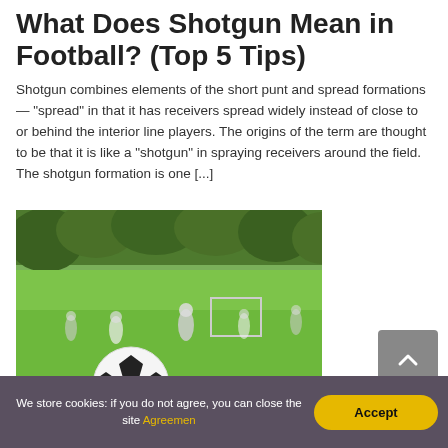What Does Shotgun Mean in Football? (Top 5 Tips)
Shotgun combines elements of the short punt and spread formations — "spread" in that it has receivers spread widely instead of close to or behind the interior line players. The origins of the term are thought to be that it is like a "shotgun" in spraying receivers around the field. The shotgun formation is one [...]
[Figure (photo): A soccer ball in the foreground on a grass field, with players and a goal in the blurred background, trees in the far background, sunny day.]
We store cookies: if you do not agree, you can close the site Agreemen
Accept